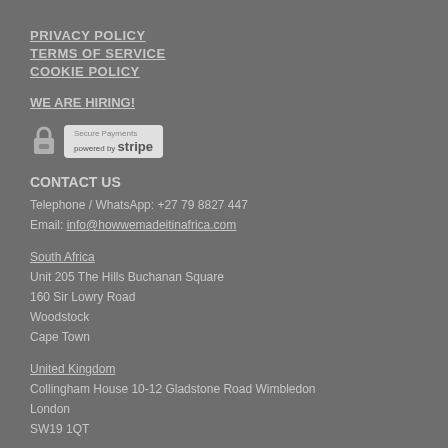PRIVACY POLICY
TERMS OF SERVICE
COOKIE POLICY
WE ARE HIRING!
[Figure (logo): Secure Payments badge with padlock icon and Stripe logo]
CONTACT US
Telephone / WhatsApp: +27 79 8827 447
Email: info@howwemadeitinafrica.com
South Africa
Unit 205 The Hills Buchanan Square
160 Sir Lowry Road
Woodstock
Cape Town
United Kingdom
Collingham House 10-12 Gladstone Road Wimbledon
London
SW19 1QT